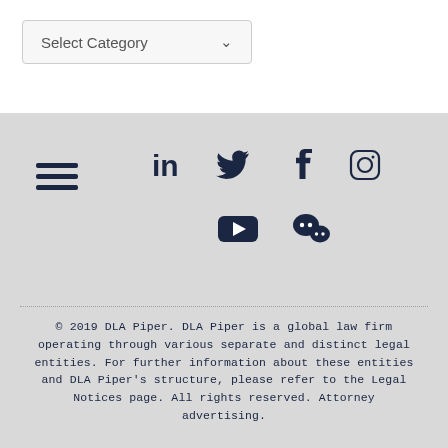[Figure (screenshot): Select Category dropdown UI element with chevron arrow]
[Figure (infographic): Footer social media icons: hamburger menu, LinkedIn, Twitter, Facebook, Instagram, YouTube, WeChat]
© 2019 DLA Piper. DLA Piper is a global law firm operating through various separate and distinct legal entities. For further information about these entities and DLA Piper's structure, please refer to the Legal Notices page. All rights reserved. Attorney advertising.